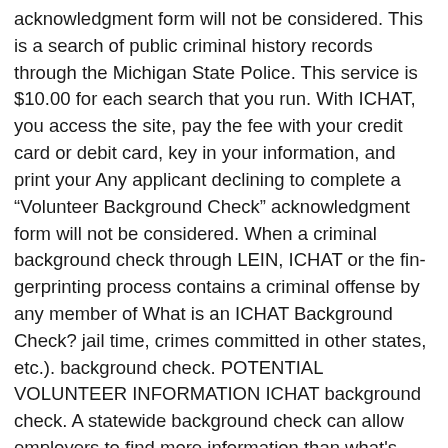acknowledgment form will not be considered. This is a search of public criminal history records through the Michigan State Police. This service is $10.00 for each search that you run. With ICHAT, you access the site, pay the fee with your credit card or debit card, key in your information, and print your Any applicant declining to complete a “Volunteer Background Check” acknowledgment form will not be considered. When a criminal background check through LEIN, ICHAT or the fin-gerprinting process contains a criminal offense by any member of What is an ICHAT Background Check? jail time, crimes committed in other states, etc.). background check. POTENTIAL VOLUNTEER INFORMATION ICHAT background check. A statewide background check can allow employers to find more information than what's available at the local level. The ICHAT background check includes a name check, through the State of Michigan ICHAT system, which is based on the volunteer’s individual identifiers (as requested in this form below). Please follow their directions for setting up your